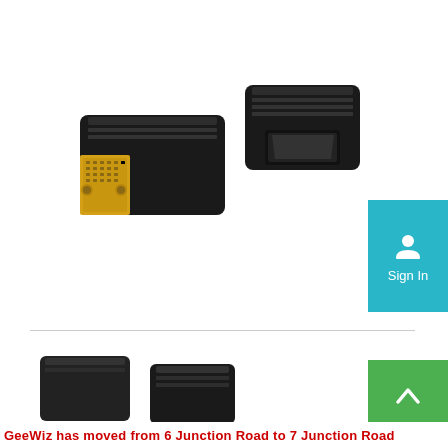[Figure (photo): Two DVI to HDMI adapter connectors on white background — one showing the gold-pin DVI male connector face, the other showing the HDMI female port]
[Figure (screenshot): Teal Sign In button with person/account icon]
[Figure (photo): Two black DVI/HDMI adapter connectors partially visible at bottom of page]
[Figure (screenshot): Green scroll-to-top button with upward chevron arrow]
GeeWiz has moved from 6 Junction Road to 7 Junction Road